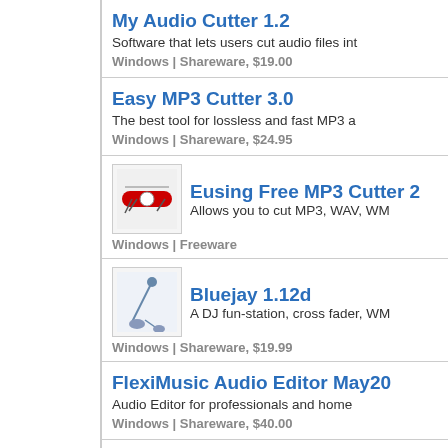My Audio Cutter 1.2 — Software that lets users cut audio files int... — Windows | Shareware, $19.00
Easy MP3 Cutter 3.0 — The best tool for lossless and fast MP3 a... — Windows | Shareware, $24.95
Eusing Free MP3 Cutter 2 — Allows you to cut MP3, WAV, WM... — Windows | Freeware
Bluejay 1.12d — A DJ fun-station, cross fader, WM... — Windows | Shareware, $19.99
FlexiMusic Audio Editor May20... — Audio Editor for professionals and home ... — Windows | Shareware, $40.00
Audio Edit Magic 7.6.0.75 — Offers audio recording, mixing, editing, ar...